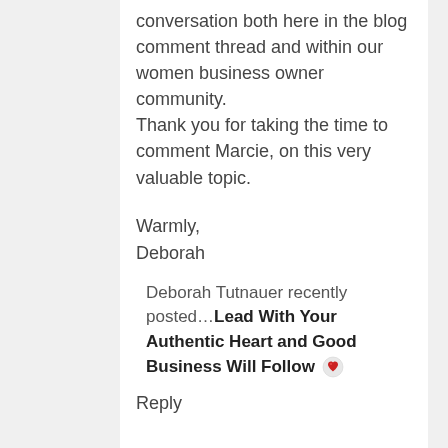conversation both here in the blog comment thread and within our women business owner community. Thank you for taking the time to comment Marcie, on this very valuable topic.
Warmly,
Deborah
Deborah Tutnauer recently posted…Lead With Your Authentic Heart and Good Business Will Follow
Reply